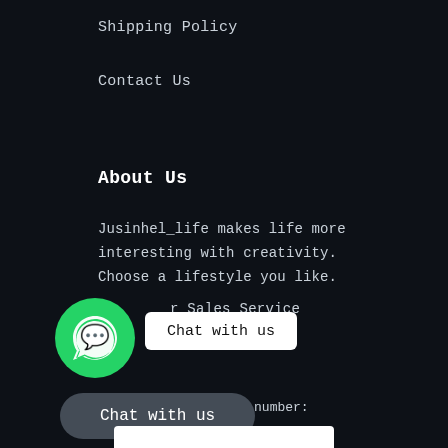Shipping Policy
Contact Us
About Us
Jusinhel_life makes life more interesting with creativity. Choose a lifestyle you like.
r Sales Service
[Figure (other): WhatsApp chat widget with green WhatsApp icon and 'Chat with us' bubble]
After-sales contact number:
25
Chat with us